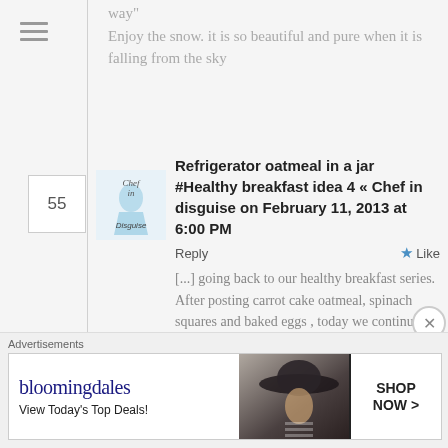way"
Enjoy the snow. it is so beautiful and pure when it is falling from the sky
55
[Figure (logo): Chef in Disguise avatar logo with cursive text and light blue dress illustration]
Refrigerator oatmeal in a jar #Healthy breakfast idea 4 « Chef in disguise on February 11, 2013 at 6:00 PM
Reply
Like
[...] going back to our healthy breakfast series. After posting carrot cake oatmeal, spinach squares and baked eggs , today we continue with one of my family's favorite
Advertisements
[Figure (illustration): Bloomingdale's advertisement banner with logo, 'View Today's Top Deals!' tagline, woman in hat photo, and SHOP NOW button]